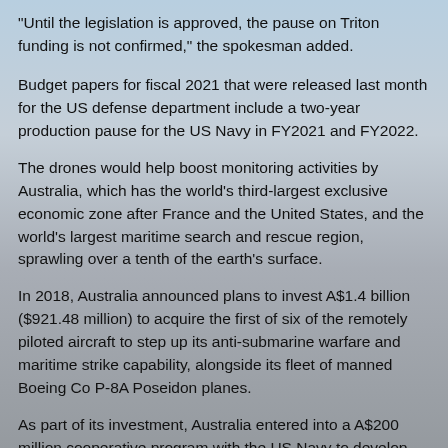"Until the legislation is approved, the pause on Triton funding is not confirmed," the spokesman added.
Budget papers for fiscal 2021 that were released last month for the US defense department include a two-year production pause for the US Navy in FY2021 and FY2022.
The drones would help boost monitoring activities by Australia, which has the world's third-largest exclusive economic zone after France and the United States, and the world's largest maritime search and rescue region, sprawling over a tenth of the earth's surface.
In 2018, Australia announced plans to invest A$1.4 billion ($921.48 million) to acquire the first of six of the remotely piloted aircraft to step up its anti-submarine warfare and maritime strike capability, alongside its fleet of manned Boeing Co P-8A Poseidon planes.
As part of its investment, Australia entered into a A$200 million cooperative program with the US Navy to develop, produce and maintain the Triton aircraft.
At the time, Australia said it expected the first aircraft to be introduced